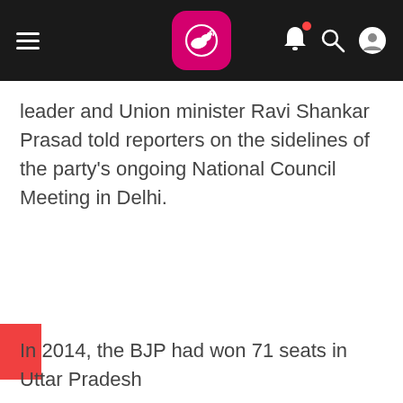Navigation bar with hamburger menu, logo, bell notification, search, and user account icons
leader and Union minister Ravi Shankar Prasad told reporters on the sidelines of the party's ongoing National Council Meeting in Delhi.
In 2014, the BJP had won 71 seats in Uttar Pradesh